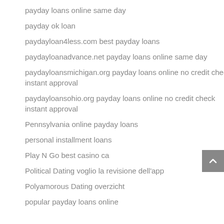payday loans online same day
payday ok loan
paydayloan4less.com best payday loans
paydayloanadvance.net payday loans online same day
paydayloansmichigan.org payday loans online no credit check instant approval
paydayloansohio.org payday loans online no credit check instant approval
Pennsylvania online payday loans
personal installment loans
Play N Go best casino ca
Political Dating voglio la revisione dell'app
Polyamorous Dating overzicht
popular payday loans online